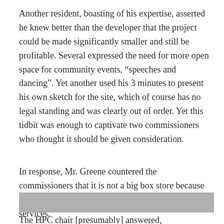Another resident, boasting of his expertise, asserted he knew better than the developer that the project could be made significantly smaller and still be profitable. Several expressed the need for more open space for community events, “speeches and dancing”. Yet another used his 3 minutes to present his own sketch for the site, which of course has no legal standing and was clearly out of order. Yet this tidbit was enough to captivate two commissioners who thought it should be given consideration.
In response, Mr. Greene countered the commissioners that it is not a big box store because it will be occupied by a variety of retailers and services.
[Figure (other): Gray horizontal bar (image placeholder or redacted section)]
The HPC chair [presumably] answered,